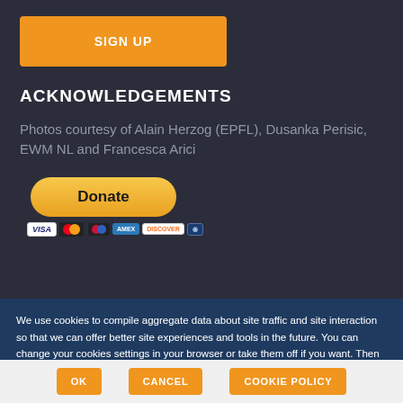[Figure (other): Orange SIGN UP button]
ACKNOWLEDGEMENTS
Photos courtesy of Alain Herzog (EPFL), Dusanka Perisic, EWM NL and Francesca Arici
[Figure (other): PayPal Donate button with payment card icons (Visa, Mastercard, American Express, Discover)]
We use cookies to compile aggregate data about site traffic and site interaction so that we can offer better site experiences and tools in the future. You can change your cookies settings in your browser or take them off if you want. Then your site experience will not be so good.
[Figure (other): Cookie consent footer with OK, CANCEL, and COOKIE POLICY buttons]